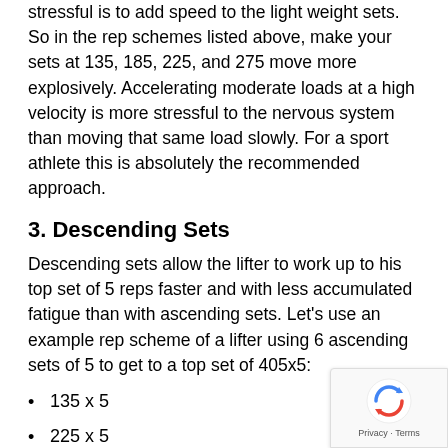stressful is to add speed to the light weight sets. So in the rep schemes listed above, make your sets at 135, 185, 225, and 275 move more explosively. Accelerating moderate loads at a high velocity is more stressful to the nervous system than moving that same load slowly. For a sport athlete this is absolutely the recommended approach.
3. Descending Sets
Descending sets allow the lifter to work up to his top set of 5 reps faster and with less accumulated fatigue than with ascending sets. Let’s use an example rep scheme of a lifter using 6 ascending sets of 5 to get to a top set of 405x5:
135 x 5
225 x 5
315 x 5